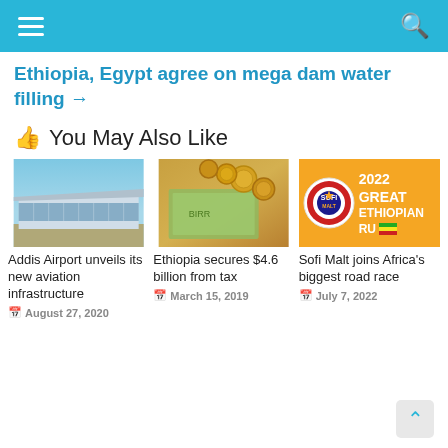Navigation bar with hamburger menu and search icon
Ethiopia, Egypt agree on mega dam water filling →
👍 You May Also Like
[Figure (photo): Photo of Addis Ababa airport modern terminal building]
Addis Airport unveils its new aviation infrastructure
August 27, 2020
[Figure (photo): Photo of Ethiopian currency coins and banknotes]
Ethiopia secures $4.6 billion from tax
March 15, 2019
[Figure (photo): Sofi Malt advertisement for 2022 Great Ethiopian Run]
Sofi Malt joins Africa's biggest road race
July 7, 2022